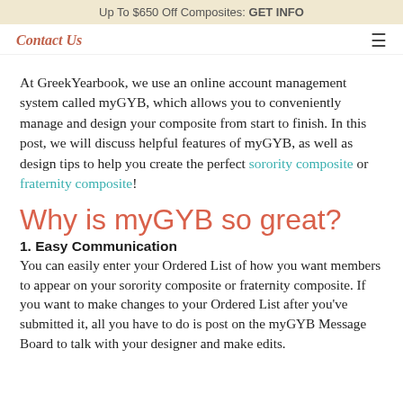Up To $650 Off Composites: GET INFO
Contact Us
At GreekYearbook, we use an online account management system called myGYB, which allows you to conveniently manage and design your composite from start to finish. In this post, we will discuss helpful features of myGYB, as well as design tips to help you create the perfect sorority composite or fraternity composite!
Why is myGYB so great?
1. Easy Communication
You can easily enter your Ordered List of how you want members to appear on your sorority composite or fraternity composite. If you want to make changes to your Ordered List after you've submitted it, all you have to do is post on the myGYB Message Board to talk with your designer and make edits.